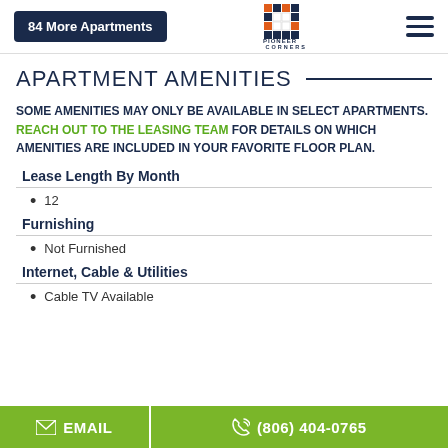84 More Apartments | Pioneer Corners | Menu
APARTMENT AMENITIES
SOME AMENITIES MAY ONLY BE AVAILABLE IN SELECT APARTMENTS. REACH OUT TO THE LEASING TEAM FOR DETAILS ON WHICH AMENITIES ARE INCLUDED IN YOUR FAVORITE FLOOR PLAN.
Lease Length By Month
12
Furnishing
Not Furnished
Internet, Cable & Utilities
Cable TV Available
EMAIL | (806) 404-0765